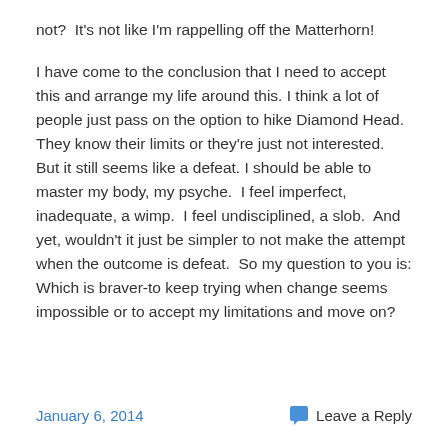not?  It's not like I'm rappelling off the Matterhorn!
I have come to the conclusion that I need to accept this and arrange my life around this. I think a lot of people just pass on the option to hike Diamond Head.  They know their limits or they're just not interested.  But it still seems like a defeat. I should be able to master my body, my psyche.  I feel imperfect, inadequate, a wimp.  I feel undisciplined, a slob.  And yet, wouldn't it just be simpler to not make the attempt when the outcome is defeat.  So my question to you is: Which is braver-to keep trying when change seems impossible or to accept my limitations and move on?
January 6, 2014   Leave a Reply